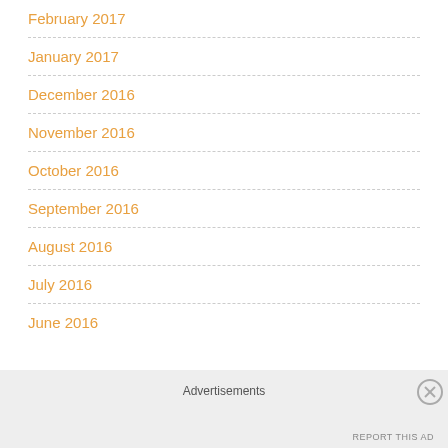February 2017
January 2017
December 2016
November 2016
October 2016
September 2016
August 2016
July 2016
June 2016
Advertisements
REPORT THIS AD